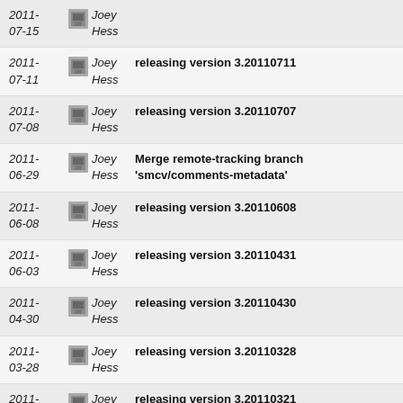2011-07-15 Joey Hess [truncated]
2011-07-11 Joey Hess releasing version 3.20110711
2011-07-08 Joey Hess releasing version 3.20110707
2011-06-29 Joey Hess Merge remote-tracking branch 'smcv/comments-metadata'
2011-06-08 Joey Hess releasing version 3.20110608
2011-06-03 Joey Hess releasing version 3.20110431
2011-04-30 Joey Hess releasing version 3.20110430
2011-03-28 Joey Hess releasing version 3.20110328
2011-03-21 Joey Hess releasing version 3.20110321
2011-02-26 Joey Hess Merge branch 'master' of ssh://git.ikiwiki.info/srv...
2011-02-25 Joey Hess releasing version 3.20110225